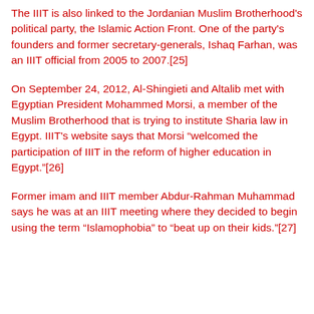The IIIT is also linked to the Jordanian Muslim Brotherhood's political party, the Islamic Action Front. One of the party's founders and former secretary-generals, Ishaq Farhan, was an IIIT official from 2005 to 2007.[25]
On September 24, 2012, Al-Shingieti and Altalib met with Egyptian President Mohammed Morsi, a member of the Muslim Brotherhood that is trying to institute Sharia law in Egypt. IIIT's website says that Morsi “welcomed the participation of IIIT in the reform of higher education in Egypt.”[26]
Former imam and IIIT member Abdur-Rahman Muhammad says he was at an IIIT meeting where they decided to begin using the term “Islamophobia” to “beat up on their kids.”[27]